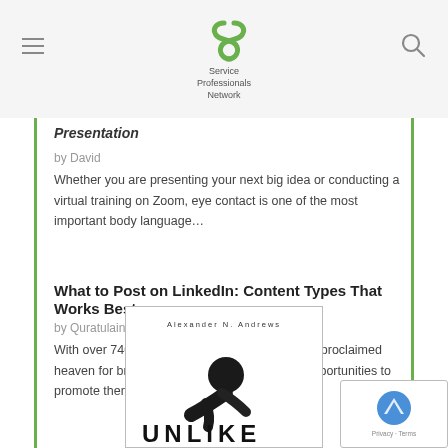Service Professionals Network
Presentation
by David
Whether you are presenting your next big idea or conducting a virtual training on Zoom, eye contact is one of the most important body language…
What to Post on LinkedIn: Content Types That Works Best
by Quratulain
With over 740 million active users, LinkedIn is a proclaimed heaven for brands and individuals looking for opportunities to promote themselves. About 80% of digital…
[Figure (photo): Book cover showing 'Alexander N. Andrews' author name and partial title 'UNLIKE' with a figure of a person bending over, on a white background.]